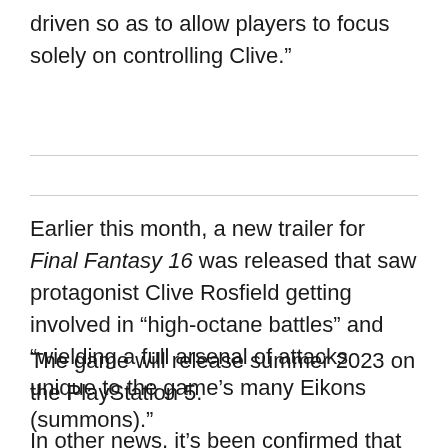driven so as to allow players to focus solely on controlling Clive."
Earlier this month, a new trailer for Final Fantasy 16 was released that saw protagonist Clive Rosfield getting involved in “high-octane battles” and “wielding a full arsenal of attacks unique to the game’s many Eikons (summons)."
The game will release summer 2023 on the PlayStation 5.
In other news, it’s been confirmed that PlayStation